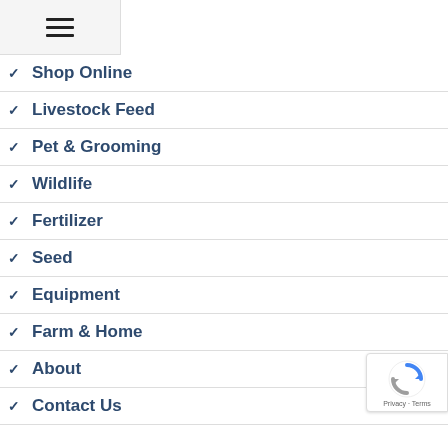[Figure (other): Hamburger menu icon (three horizontal lines) in a light grey header bar]
Shop Online
Livestock Feed
Pet & Grooming
Wildlife
Fertilizer
Seed
Equipment
Farm & Home
About
Contact Us
[Figure (logo): reCAPTCHA badge with spinning arrows icon and Privacy · Terms text]